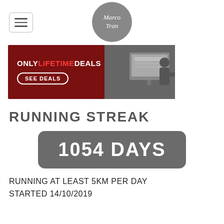[Figure (logo): Marco Tran circular logo with handwritten-style text on grey circle]
[Figure (photo): Only Lifetime Deals advertisement banner with red background showing text ONLY LIFETIME DEALS and SEE DEALS button, alongside photo of person at desk with computer monitors]
RUNNING STREAK
1054 DAYS
RUNNING AT LEAST 5KM PER DAY STARTED 14/10/2019